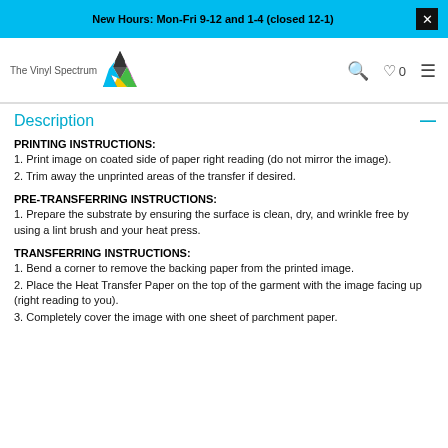New Hours: Mon-Fri 9-12 and 1-4 (closed 12-1)
[Figure (logo): The Vinyl Spectrum logo with colorful triangle and text]
Description
PRINTING INSTRUCTIONS:
1. Print image on coated side of paper right reading (do not mirror the image).
2. Trim away the unprinted areas of the transfer if desired.
PRE-TRANSFERRING INSTRUCTIONS:
1. Prepare the substrate by ensuring the surface is clean, dry, and wrinkle free by using a lint brush and your heat press.
TRANSFERRING INSTRUCTIONS:
1. Bend a corner to remove the backing paper from the printed image.
2. Place the Heat Transfer Paper on the top of the garment with the image facing up (right reading to you).
3. Completely cover the image with one sheet of parchment paper.